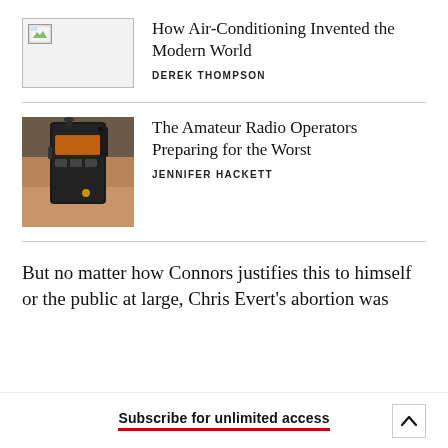[Figure (photo): Placeholder image thumbnail for article]
How Air-Conditioning Invented the Modern World
DEREK THOMPSON
[Figure (photo): Photo of a hand holding a black portable amateur radio/walkie-talkie with orange display]
The Amateur Radio Operators Preparing for the Worst
JENNIFER HACKETT
But no matter how Connors justifies this to himself or the public at large, Chris Evert's abortion was
Subscribe for unlimited access